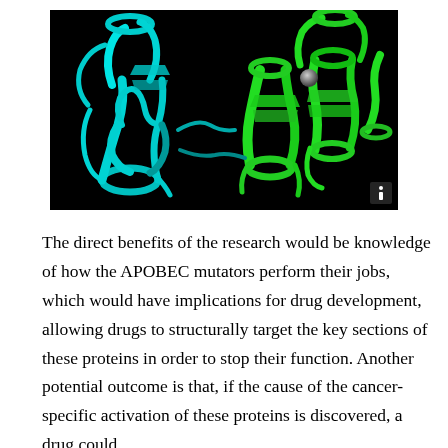[Figure (illustration): 3D ribbon/cartoon rendering of a protein structure dimer on a black background. Left subunit is colored cyan/teal, right subunit is colored bright green, with a small gray metallic sphere (zinc or metal ion) near the top center-right of the green subunit.]
The direct benefits of the research would be knowledge of how the APOBEC mutators perform their jobs, which would have implications for drug development, allowing drugs to structurally target the key sections of these proteins in order to stop their function. Another potential outcome is that, if the cause of the cancer-specific activation of these proteins is discovered, a drug could